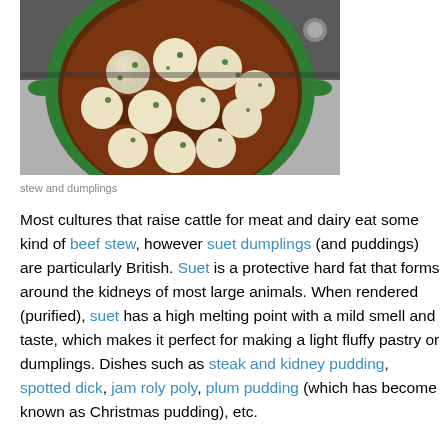[Figure (photo): Overhead view of a green Dutch oven on a stovetop containing beef stew topped with round suet dumplings garnished with chopped parsley]
stew and dumplings
Most cultures that raise cattle for meat and dairy eat some kind of beef stew, however suet dumplings (and puddings) are particularly British. Suet is a protective hard fat that forms around the kidneys of most large animals. When rendered (purified), suet has a high melting point with a mild smell and taste, which makes it perfect for making a light fluffy pastry or dumplings. Dishes such as steak and kidney pudding, spotted dick, jam roly poly, plum pudding (which has become known as Christmas pudding), etc.